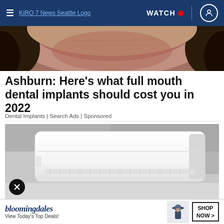≡ KIRO 7 News Seattle Logo | WATCH 🔴 | [user icon]
[Figure (photo): Cropped close-up of a person's face/forehead with hair visible on the sides, brownish-red skin tone]
Ashburn: Here's what full mouth dental implants should cost you in 2022
Dental Implants | Search Ads | Sponsored
[Figure (photo): Air conditioning wall unit (mini-split) mounted on a wall, white unit against a gray wall/ceiling]
[Figure (photo): Bloomingdales advertisement banner — text reads 'bloomingdales View Today's Top Deals!' with a woman in a hat and a SHOP NOW > button]